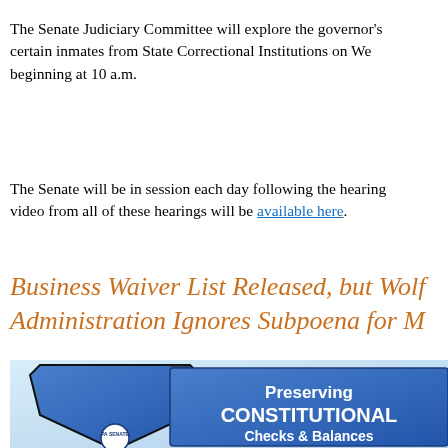The Senate Judiciary Committee will explore the governor's certain inmates from State Correctional Institutions on We beginning at 10 a.m.
The Senate will be in session each day following the hearing video from all of these hearings will be available here.
Business Waiver List Released, but Wolf Administration Ignores Subpoena for M
[Figure (illustration): Blue shield/banner graphic with text 'Preserving CONSTITUTIONAL Checks & Balances' and PA SENATE logo at bottom, on a light blue background.]